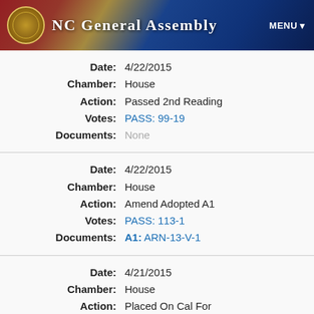NC General Assembly
| Field | Value |
| --- | --- |
| Date: | 4/22/2015 |
| Chamber: | House |
| Action: | Passed 2nd Reading |
| Votes: | PASS: 99-19 |
| Documents: | None |
| Field | Value |
| --- | --- |
| Date: | 4/22/2015 |
| Chamber: | House |
| Action: | Amend Adopted A1 |
| Votes: | PASS: 113-1 |
| Documents: | A1: ARN-13-V-1 |
| Field | Value |
| --- | --- |
| Date: | 4/21/2015 |
| Chamber: | House |
| Action: | Placed On Cal For 04/22/2015 |
| Votes: | None |
| Documents: | None |